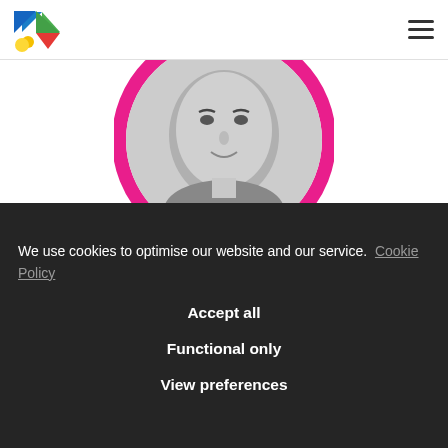Logo and navigation menu
[Figure (photo): Black and white circular portrait photo of a man with a pink/magenta circular border frame]
We use cookies to optimise our website and our service.  Cookie Policy
Accept all
Functional only
View preferences